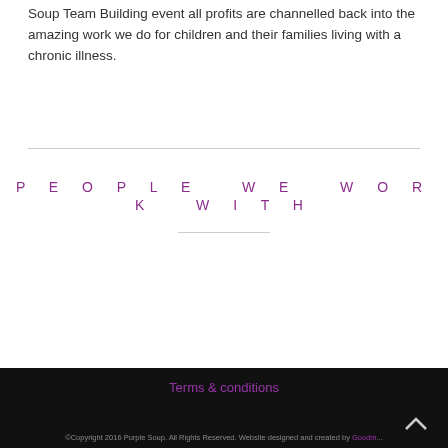Soup Team Building event all profits are channelled back into the amazing work we do for children and their families living with a chronic illness.
PEOPLE WE WORK WITH
Terms & conditions
©Copyright 2016 Purple Soup. All Rights Reserved. Website designed and created by Goodm...